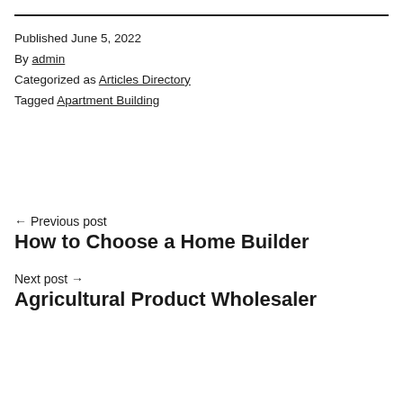Published June 5, 2022
By admin
Categorized as Articles Directory
Tagged Apartment Building
← Previous post
How to Choose a Home Builder
Next post →
Agricultural Product Wholesaler